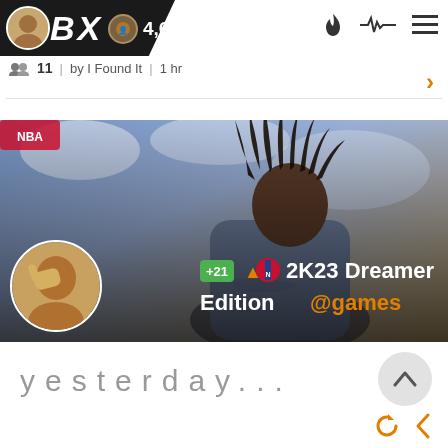BX | 4,622 | 11 | by I Found It | 1 hr
[Figure (screenshot): Screenshot of a social media/forum app (BronxNet/BX) showing a post with NBA 2K23 Dreamer Edition game cover featuring a person with dreadlocks and text overlay '+21 NBA 2K23 Dreamer Edition @games', with a meme image overlay of a person covering their eye]
yesterday...